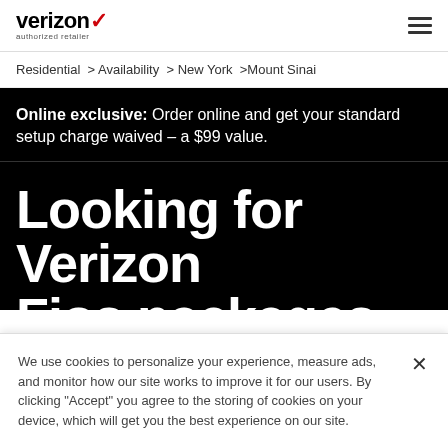verizon authorized retailer
Residential > Availability > New York > Mount Sinai
Online exclusive: Order online and get your standard setup charge waived – a $99 value.
Looking for Verizon Fios packages in
We use cookies to personalize your experience, measure ads, and monitor how our site works to improve it for our users. By clicking "Accept" you agree to the storing of cookies on your device, which will get you the best experience on our site.